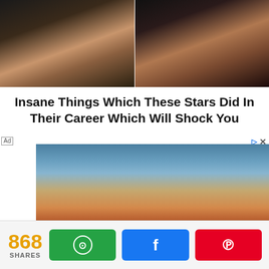[Figure (photo): Two side-by-side photos of women at top of page]
Insane Things Which These Stars Did In Their Career Which Will Shock You
[Figure (photo): Advertisement photo of a blonde woman wearing a wide-brim hat outdoors with blue sky background]
Ad
868 SHARES
[Figure (infographic): Share buttons: WhatsApp (green), Facebook (blue), Pinterest (red)]